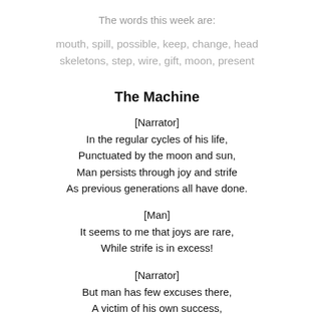The words this week are:
mouth, spill, possible, keep, change, head skeletons, step, wire, gift, moon, present
The Machine
[Narrator]
In the regular cycles of his life,
Punctuated by the moon and sun,
Man persists through joy and strife
As previous generations all have done.
[Man]
It seems to me that joys are rare,
While strife is in excess!
[Narrator]
But man has few excuses there,
A victim of his own success,